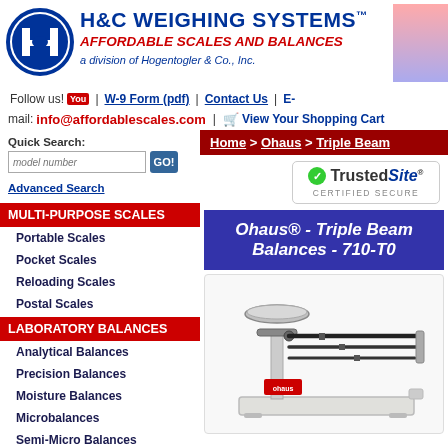H&C WEIGHING SYSTEMS™ AFFORDABLE SCALES AND BALANCES a division of Hogentogler & Co., Inc.
Follow us! | W-9 Form (pdf) | Contact Us | E-mail: info@affordablescales.com | View Your Shopping Cart
Quick Search: model number [GO!]
Advanced Search
MULTI-PURPOSE SCALES
Portable Scales
Pocket Scales
Reloading Scales
Postal Scales
LABORATORY BALANCES
Analytical Balances
Precision Balances
Moisture Balances
Microbalances
Semi-Micro Balances
Mass Comparators
Mechanical Balances
Home > Ohaus > Triple Beam
[Figure (logo): TrustedSite CERTIFIED SECURE badge with green checkmark]
Ohaus® - Triple Beam Balances - 710-T0
[Figure (photo): Photo of an Ohaus triple beam balance scale with stainless steel pan and white base]